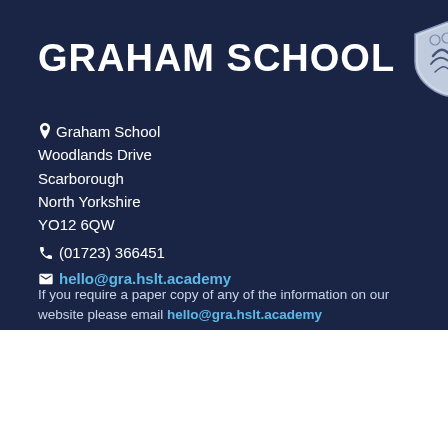GRAHAM SCHOOL
Graham School
Woodlands Drive
Scarborough
North Yorkshire
YO12 6QW
(01723) 366451
hello@gra.hslt.academy
If you require a paper copy of any of the information on our website please email hello@gra.hslt.academy
We use to cookies to provide core functionality, interactive features and analyse user behaviour to improve site performance.
Accept
Reject
Read More